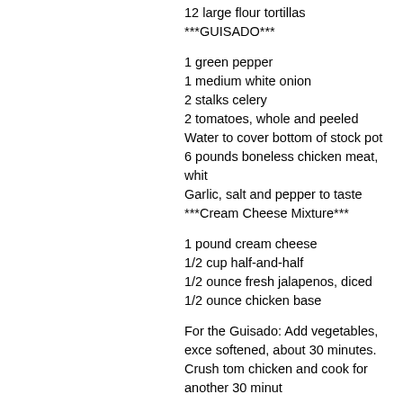12 large flour tortillas
***GUISADO***
1 green pepper
1 medium white onion
2 stalks celery
2 tomatoes, whole and peeled
Water to cover bottom of stock pot
6 pounds boneless chicken meat, whit
Garlic, salt and pepper to taste
***Cream Cheese Mixture***
1 pound cream cheese
1/2 cup half-and-half
1/2 ounce fresh jalapenos, diced
1/2 ounce chicken base
For the Guisado: Add vegetables, exce softened, about 30 minutes. Crush tom chicken and cook for another 30 minut
For the cream cheese mixture: Soften a mixer and blend evenly.